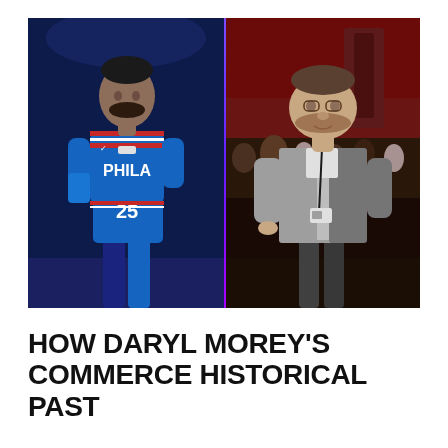[Figure (photo): Split photo: left side shows a Philadelphia 76ers basketball player wearing blue jersey number 25 with 'PHILA' written on it, standing on a court. Right side shows a heavier-set man in a grey blazer and lanyard/badge, appearing to be a team executive, standing near a court.]
HOW DARYL MOREY'S COMMERCE HISTORICAL PAST